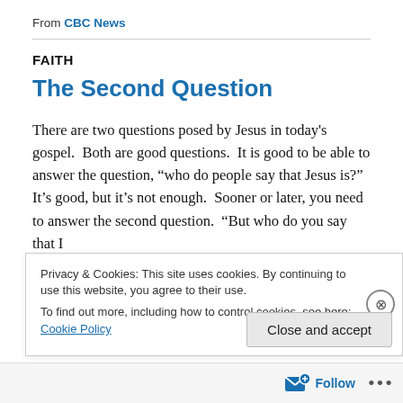From CBC News
FAITH
The Second Question
There are two questions posed by Jesus in today's gospel.  Both are good questions.  It is good to be able to answer the question, “who do people say that Jesus is?”  It’s good, but it’s not enough.  Sooner or later, you need to answer the second question.  “But who do you say that I
Privacy & Cookies: This site uses cookies. By continuing to use this website, you agree to their use.
To find out more, including how to control cookies, see here: Cookie Policy
Close and accept
Follow ...